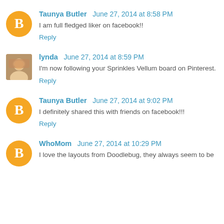Taunya Butler June 27, 2014 at 8:58 PM
I am full fledged liker on facebook!!
Reply
lynda June 27, 2014 at 8:59 PM
I'm now following your Sprinkles Vellum board on Pinterest.
Reply
Taunya Butler June 27, 2014 at 9:02 PM
I definitely shared this with friends on facebook!!!
Reply
WhoMom June 27, 2014 at 10:29 PM
I love the layouts from Doodlebug, they always seem to be